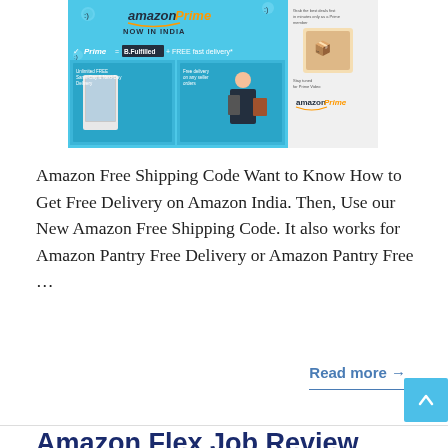[Figure (screenshot): Amazon Prime advertisement banner showing 'Amazon Prime NOW IN INDIA' with Prime = B.Fulfilled + FREE fast delivery, and images of appliances, delivery person, and Amazon box]
Amazon Free Shipping Code Want to Know How to Get Free Delivery on Amazon India. Then, Use our New Amazon Free Shipping Code. It also works for Amazon Pantry Free Delivery or Amazon Pantry Free …
Read more →
Amazon Flex Job Review